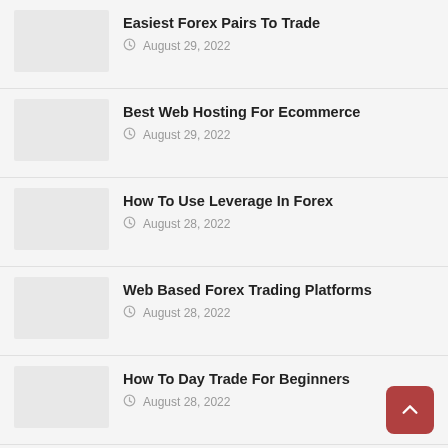Easiest Forex Pairs To Trade
August 29, 2022
Best Web Hosting For Ecommerce
August 29, 2022
How To Use Leverage In Forex
August 28, 2022
Web Based Forex Trading Platforms
August 28, 2022
How To Day Trade For Beginners
August 28, 2022
How To Invest In Apple Shares
August 27, 2022